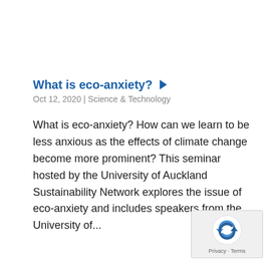What is eco-anxiety? ▶
Oct 12, 2020 | Science & Technology
What is eco-anxiety? How can we learn to be less anxious as the effects of climate change become more prominent? This seminar hosted by the University of Auckland Sustainability Network explores the issue of eco-anxiety and includes speakers from the University of...
[Figure (logo): reCAPTCHA badge with recycling-style arrow logo and Privacy · Terms text]